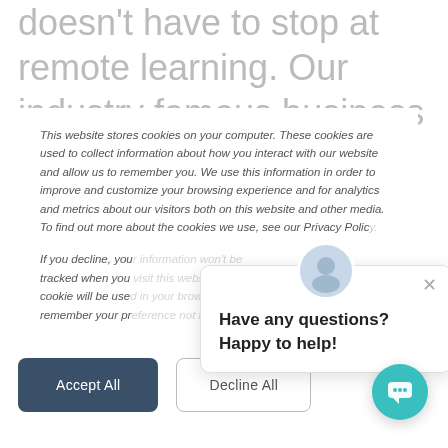doesn't have to stop at remote learning. Our industry famous business simulations can be run online and incorporated into a remote learning program helping to
This website stores cookies on your computer. These cookies are used to collect information about how you interact with our website and allow us to remember you. We use this information in order to improve and customize your browsing experience and for analytics and metrics about our visitors both on this website and other media. To find out more about the cookies we use, see our Privacy Policy.
If you decline, your information won't be tracked when you visit this website. A single cookie will be used in your browser to remember your preference not to be tracked.
Have any questions? Happy to help!
Accept All
Decline All